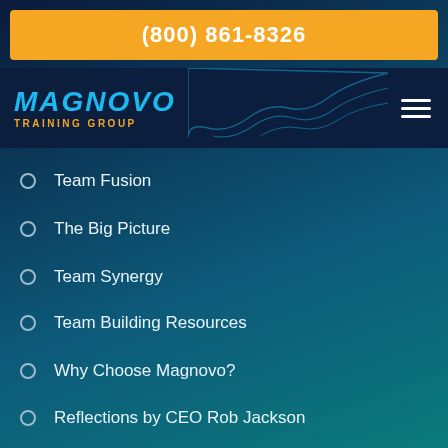(800) 861-8326
[Figure (logo): Magnovo Training Group logo with blue italic text and orange subtitle]
Team Fusion
The Big Picture
Team Synergy
Team Building Resources
Why Choose Magnovo?
Reflections by CEO Rob Jackson
Toll-Free: (800) 861-TEAM (8326)
CHARITY
Happy Tails Charity Team Building
Rescue Buddies™
Wheelcharity™
Hospital Helpers
Puttin Pantry™